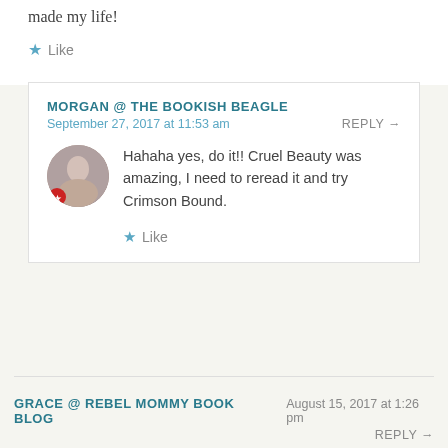made my life!
Like
MORGAN @ THE BOOKISH BEAGLE
September 27, 2017 at 11:53 am
REPLY →
Hahaha yes, do it!! Cruel Beauty was amazing, I need to reread it and try Crimson Bound.
Like
GRACE @ REBEL MOMMY BOOK BLOG
August 15, 2017 at 1:26 pm
REPLY →
I really want to get to Ceokerella – it looks so